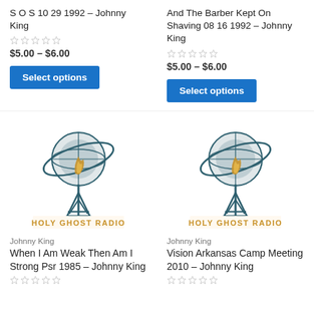S O S 10 29 1992 – Johnny King
And The Barber Kept On Shaving 08 16 1992 – Johnny King
$5.00 – $6.00
$5.00 – $6.00
Select options
Select options
[Figure (logo): Holy Ghost Radio logo: radio tower with globe and flame, text HOLY GHOST RADIO]
[Figure (logo): Holy Ghost Radio logo: radio tower with globe and flame, text HOLY GHOST RADIO]
Johnny King
Johnny King
When I Am Weak Then Am I Strong Psr 1985 – Johnny King
Vision Arkansas Camp Meeting 2010 – Johnny King